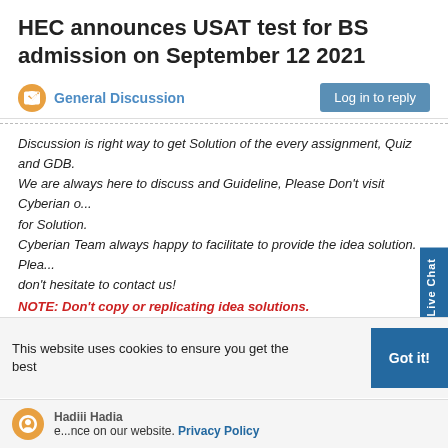HEC announces USAT test for BS admission on September 12 2021
General Discussion
Log in to reply
Discussion is right way to get Solution of the every assignment, Quiz and GDB.
We are always here to discuss and Guideline, Please Don't visit Cyberian o... for Solution.
Cyberian Team always happy to facilitate to provide the idea solution. Please don't hesitate to contact us!
NOTE: Don't copy or replicating idea solutions.
Quiz Copy Solution
Mid and Final Past Papers
Live Chat
Mobile Tax Calculator
Live Chat
0
This website uses cookies to ensure you get the best
Got it!
Hadiii Hadia
e...nce on our website. Privacy Policy